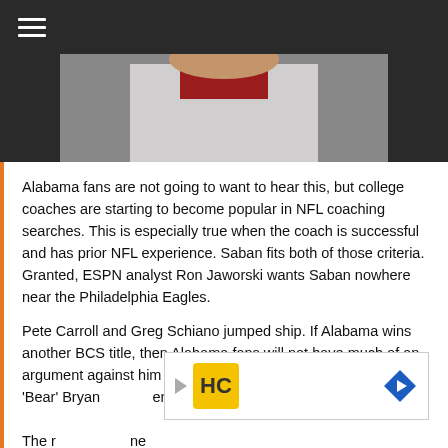[Figure (photo): Partial photo of a person wearing white and red, cropped at top]
Alabama fans are not going to want to hear this, but college coaches are starting to become popular in NFL coaching searches. This is especially true when the coach is successful and has prior NFL experience. Saban fits both of those criteria. Granted, ESPN analyst Ron Jaworski wants Saban nowhere near the Philadelphia Eagles.
Pete Carroll and Greg Schiano jumped ship. If Alabama wins another BCS title, then Alabama fans will not have much of an argument against him leaving. The days of coaches like Paul 'Bear' Bryan... The r...